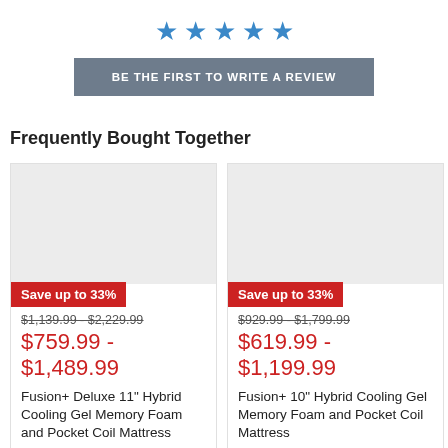[Figure (other): Five blue star rating icons displayed in a row]
BE THE FIRST TO WRITE A REVIEW
Frequently Bought Together
[Figure (other): Product card 1 - Save up to 33% badge, old price $1,139.99 - $2,229.99, new price $759.99 - $1,489.99, Fusion+ Deluxe 11" Hybrid Cooling Gel Memory Foam and Pocket Coil Mattress]
[Figure (other): Product card 2 - Save up to 33% badge, old price $929.99 - $1,799.99, new price $619.99 - $1,199.99, Fusion+ 10" Hybrid Cooling Gel Memory Foam and Pocket Coil Mattress]